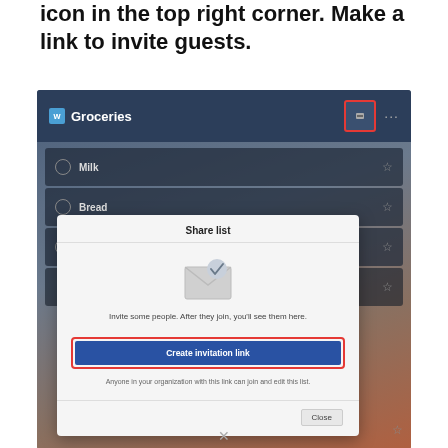icon in the top right corner. Make a link to invite guests.
[Figure (screenshot): Screenshot of a Groceries list app showing the Share list dialog with a 'Create invitation link' button highlighted in red, and a share icon in the top right corner also highlighted in red.]